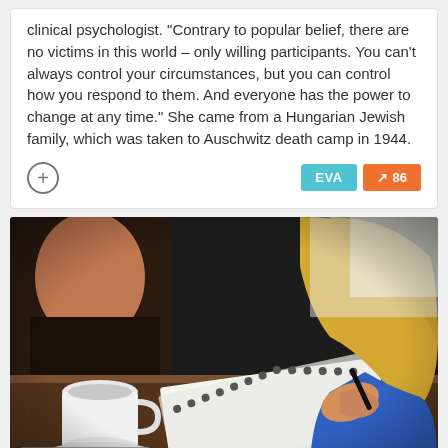clinical psychologist. "Contrary to popular belief, there are no victims in this world – only willing participants. You can't always control your circumstances, but you can control how you respond to them. And everyone has the power to change at any time." She came from a Hungarian Jewish family, which was taken to Auschwitz death camp in 1944.
[Figure (photo): Photo of a woman with long blonde hair wearing a blue top, sitting at a table writing in a spiral notebook, with a coffee mug and saucer in the foreground and another person partially visible on the left.]